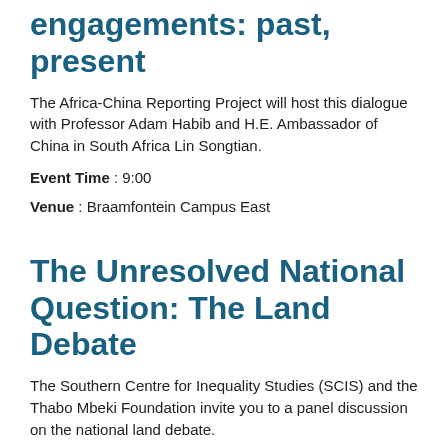engagements: past, present
The Africa-China Reporting Project will host this dialogue with Professor Adam Habib and H.E. Ambassador of China in South Africa Lin Songtian.
Event Time : 9:00
Venue : Braamfontein Campus East
The Unresolved National Question: The Land Debate
The Southern Centre for Inequality Studies (SCIS) and the Thabo Mbeki Foundation invite you to a panel discussion on the national land debate.
Event Time : 17:30
Venue : Parktown Management Campus